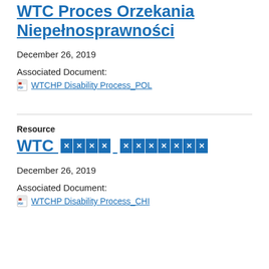WTC Proces Orzekania Niepełnosprawności
December 26, 2019
Associated Document:
WTCHP Disability Process_POL
Resource
WTC [REDACTED] [REDACTED]
December 26, 2019
Associated Document:
WTCHP Disability Process_CHI